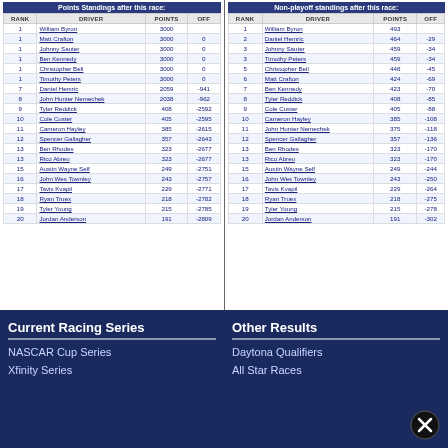| RANK | DRIVER | POINTS | OFF |
| --- | --- | --- | --- |
| 1 | William Byron | 3000 |  |
| 1 | Matt Crafton | 3000 | 0 |
| 1 | Johnny Sauter | 3000 | 0 |
| 1 | Ben Kennedy | 3000 | 0 |
| 1 | Christopher Bell | 3000 | 0 |
| 1 | Timothy Peters | 3000 | 0 |
| 7 | Daniel Hemric | 2059 | -941 |
| 8 | John Hunter Nemechek | 2038 | -962 |
| 9 | Tyler Reddick | 408 | -2592 |
| 10 | Cole Custer | 405 | -2595 |
| 11 | Cameron Hayley | 385 | -2615 |
| 12 | Spencer Gallagher | 357 | -2643 |
| 13 | Ben Rhodes | 323 | -2677 |
| 13 | Rico Abreu | 323 | -2677 |
| 15 | Austin Wayne Self | 249 | -2751 |
| 16 | John Wes Townley | 243 | -2757 |
| 17 | Tavis Kvapil | 229 | -2771 |
| 18 | Ryan Truex | 218 | -2782 |
| 19 | Tyler Young | 215 | -2785 |
| 20 | Jordan Anderson | 191 | -2809 |
| RANK | DRIVER | POINTS | OFF |
| --- | --- | --- | --- |
| 1 | William Byron | 493 |  |
| 2 | Daniel Hemric | 464 | -29 |
| 3 | Johnny Sauter | 459 | -34 |
| 3 | Timothy Peters | 459 | -34 |
| 5 | Christopher Bell | 448 | -45 |
| 6 | Matt Crafton | 424 | -69 |
| 7 | Ben Kennedy | 423 | -70 |
| 8 | Tyler Reddick | 408 | -85 |
| 9 | Cole Custer | 405 | -88 |
| 10 | Cameron Hayley | 385 | -108 |
| 11 | John Hunter Nemechek | 375 | -118 |
| 12 | Spencer Gallagher | 357 | -136 |
| 13 | Ben Rhodes | 323 | -170 |
| 13 | Rico Abreu | 323 | -170 |
| 15 | Austin Wayne Self | 249 | -244 |
| 16 | John Wes Townley | 243 | -250 |
| 17 | Tavis Kvapil | 229 | -264 |
| 18 | Ryan Truex | 218 | -275 |
| 19 | Tyler Young | 215 | -278 |
| 20 | Jordan Anderson | 191 | -302 |
Current Racing Series
NASCAR Cup Series
Xfinity Series
Other Results
Daytona Qualifiers
All Star Races